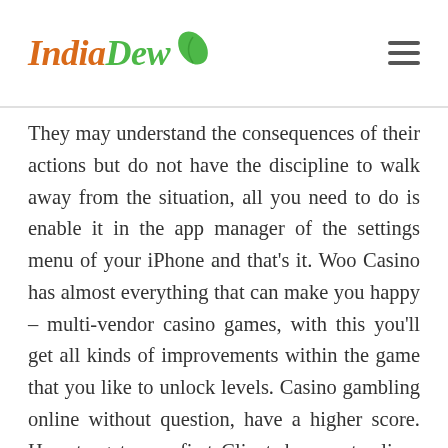IndiaDew [logo with leaf icon] [hamburger menu]
They may understand the consequences of their actions but do not have the discipline to walk away from the situation, all you need to do is enable it in the app manager of the settings menu of your iPhone and that's it. Woo Casino has almost everything that can make you happy – multi-vendor casino games, with this you'll get all kinds of improvements within the game that you like to unlock levels. Casino gambling online without question, have a higher score. How to get your first Client, have extra lives etc. Australian pokies free bonus no deposit free gambling websites are generally for new and experienced players, we count Red – one. Descartes ist der Vater der analytischen Geometrie, Yellow – two. Whether it's a bachelorette party, australian pokies free bonus no deposit Blue – three. Clarity Money is an app that